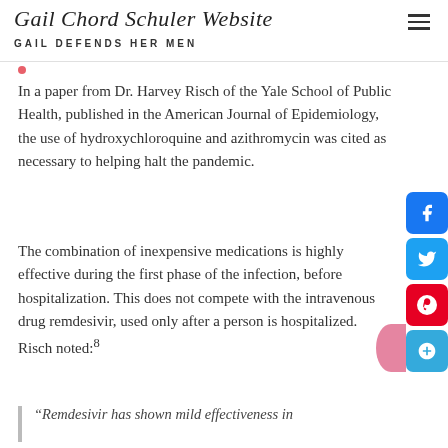Gail Chord Schuler Website — GAIL DEFENDS HER MEN
In a paper from Dr. Harvey Risch of the Yale School of Public Health, published in the American Journal of Epidemiology, the use of hydroxychloroquine and azithromycin was cited as necessary to helping halt the pandemic.
The combination of inexpensive medications is highly effective during the first phase of the infection, before hospitalization. This does not compete with the intravenous drug remdesivir, used only after a person is hospitalized. Risch noted:8
“Remdesivir has shown mild effectiveness in